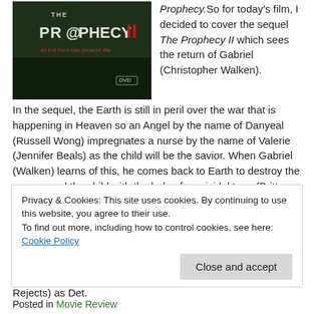[Figure (photo): DVD cover for The Prophecy II movie — dark green/black background with red title text and subtitle 'An Evil Force Has Declared War...']
Prophecy.So for today's film, I decided to cover the sequel The Prophecy II which sees the return of Gabriel (Christopher Walken). In the sequel, the Earth is still in peril over the war that is happening in Heaven so an Angel by the name of Danyeal (Russell Wong) impregnates a nurse by the name of Valerie (Jennifer Beals) as the child will be the savior. When Gabriel (Walken) learns of this, he comes back to Earth to destroy the woman and the child with the help of a suicidal teen (Brittany Murphy). The film also stars Eric Roberts (Best Of The Best) as Michael, Glenn Danzig (Portlandia) as Samayel, Steve Hytner (In The Line Of Fire) as Joseph, Bruce Abbott (Bride Of Re-Animator) as Thomas Daggett, Renee Victor (Paranormal Activity: The Marked Ones) as Nana, J.G. Hertzler (Zorro) as Father William, Tom Towles (The Devil's Rejects) as Det.
Privacy & Cookies: This site uses cookies. By continuing to use this website, you agree to their use. To find out more, including how to control cookies, see here: Cookie Policy
Posted in Movie Review